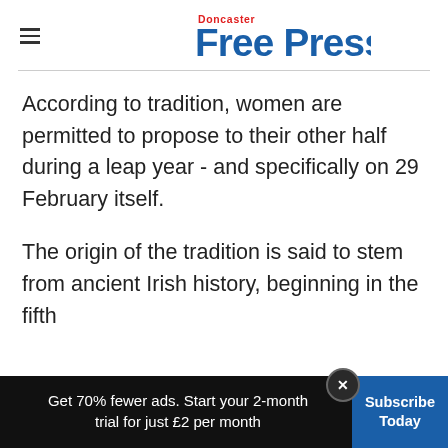Doncaster Free Press
According to tradition, women are permitted to propose to their other half during a leap year - and specifically on 29 February itself.
The origin of the tradition is said to stem from ancient Irish history, beginning in the fifth
Get 70% fewer ads. Start your 2-month trial for just £2 per month
Subscribe Today